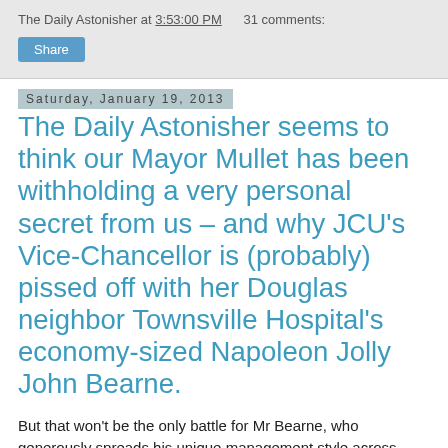The Daily Astonisher at 3:53:00 PM   31 comments:
Share
Saturday, January 19, 2013
The Daily Astonisher seems to think our Mayor Mullet has been withholding a very personal secret from us – and why JCU's Vice-Chancellor is (probably) pissed off with her Douglas neighbor Townsville Hospital's economy-sized Napoleon Jolly John Bearne.
But that won't be the only battle for Mr Bearne, who generously spreads his unique management style across more than one arena – so get set for a monumental finger-pointing, down and dirty eye